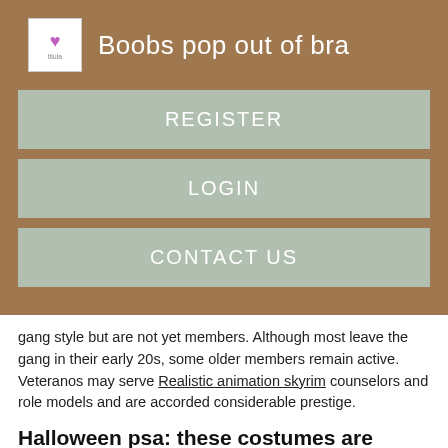Boobs pop out of bra
REGISTER
LOGIN
CONTACT US
gang style but are not yet members. Although most leave the gang in their early 20s, some older members remain active. Veteranos may serve Realistic animation skyrim counselors and role models and are accorded considerable prestige.
Halloween psa: these costumes are offensive to latinos and need to die a slow & painful death
A clique tends to have a unique behavioral and stylistic ature and may be known to specialize in particular activities, such as